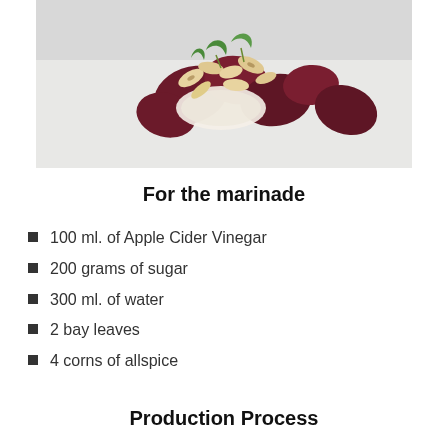[Figure (photo): A food photograph showing dark red/maroon beet slices garnished with toasted almond slices and green mint leaves, arranged on a white background.]
For the marinade
100 ml. of Apple Cider Vinegar
200 grams of sugar
300 ml. of water
2 bay leaves
4 corns of allspice
Production Process